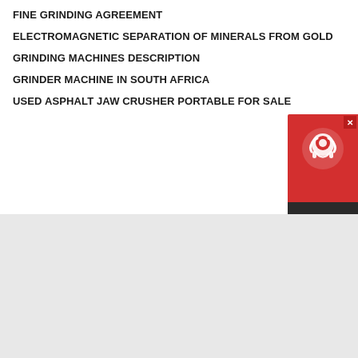FINE GRINDING AGREEMENT
ELECTROMAGNETIC SEPARATION OF MINERALS FROM GOLD
GRINDING MACHINES DESCRIPTION
GRINDER MACHINE IN SOUTH AFRICA
USED ASPHALT JAW CRUSHER PORTABLE FOR SALE
[Figure (infographic): Chat Now customer support widget with red top section showing headset icon and dark bottom section with Chat Now text]
BOOKING ONLINE
[Figure (screenshot): Light blue booking form area at the bottom of the page]
[Figure (infographic): Circular blue chat bubble button with ellipsis dots icon]